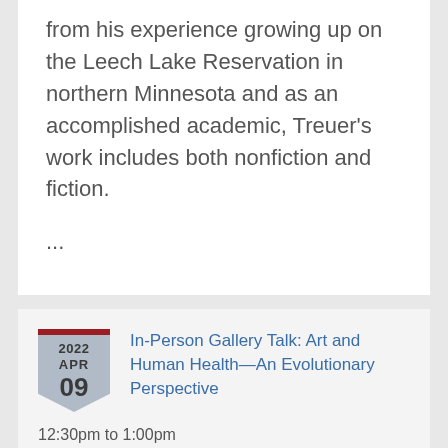from his experience growing up on the Leech Lake Reservation in northern Minnesota and as an accomplished academic, Treuer's work includes both nonfiction and fiction.
...
2022 APR 09
In-Person Gallery Talk: Art and Human Health—An Evolutionary Perspective
12:30pm to 1:00pm